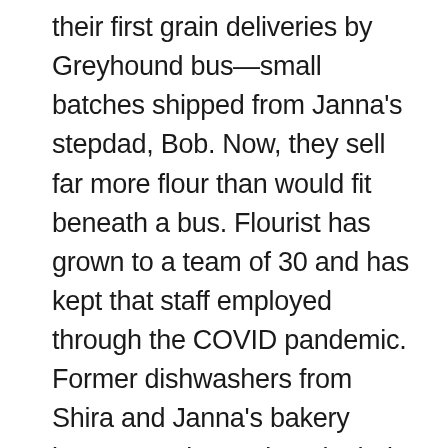their first grain deliveries by Greyhound bus—small batches shipped from Janna's stepdad, Bob. Now, they sell far more flour than would fit beneath a bus. Flourist has grown to a team of 30 and has kept that staff employed through the COVID pandemic. Former dishwashers from Shira and Janna's bakery became order packers in their warehouses; baristas became delivery drivers. And not only does Flourist provide their employees with livelihoods, they also provide stability and revenue for the farmers they support.
Like Will Robbins, a young farmer—and you don't see many of those these days—who